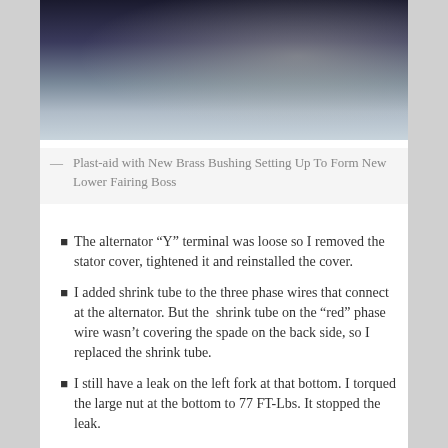[Figure (photo): Close-up photo of mechanical/motorcycle component, dark metallic surface with hardware visible]
— Plast-aid with New Brass Bushing Setting Up To Form New Lower Fairing Boss
The alternator “Y” terminal was loose so I removed the stator cover, tightened it and reinstalled the cover.
I added shrink tube to the three phase wires that connect at the alternator. But the  shrink tube on the “red” phase wire wasn’t covering the spade on the back side, so I replaced the shrink tube.
I still have a leak on the left fork at that bottom. I torqued the large nut at the bottom to 77 FT-Lbs. It stopped the leak.
The foot  tab on the center stand had broken and I had a piece welded to the stand. But it was too low and dragged in the corners. I bent